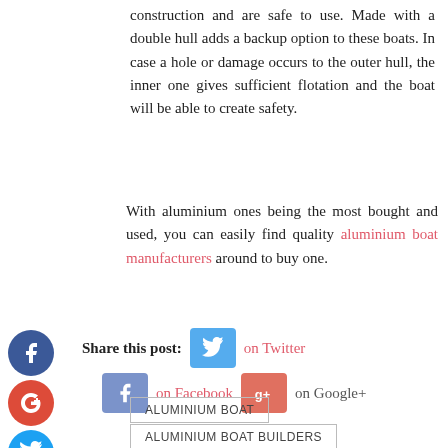construction and are safe to use. Made with a double hull adds a backup option to these boats. In case a hole or damage occurs to the outer hull, the inner one gives sufficient flotation and the boat will be able to create safety.
With aluminium ones being the most bought and used, you can easily find quality aluminium boat manufacturers around to buy one.
Share this post: on Twitter on Facebook on Google+
ALUMINIUM BOAT
ALUMINIUM BOAT BUILDERS
ALUMINIUM BOAT BUILDERS BRISBANE
ALUMINIUM BOAT BUILDERS QUEENSLAND